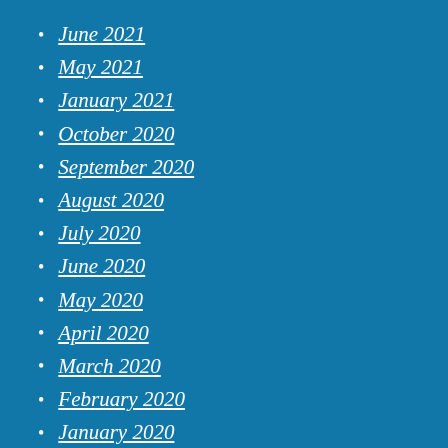June 2021
May 2021
January 2021
October 2020
September 2020
August 2020
July 2020
June 2020
May 2020
April 2020
March 2020
February 2020
January 2020
December 2019
November 2019
October 2019